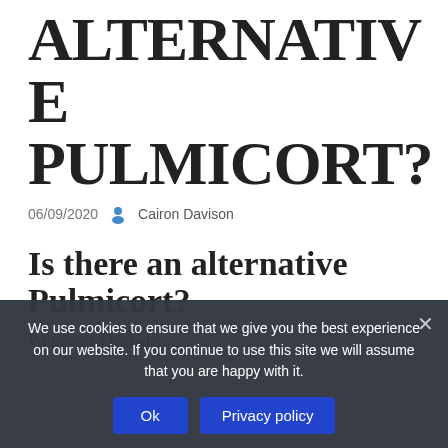ALTERNATIVE PULMICORT?
06/09/2020  Cairon Davison
Is there an alternative Pulmicort?
Pulmicort Flexhaler...
We use cookies to ensure that we give you the best experience on our website. If you continue to use this site we will assume that you are happy with it.